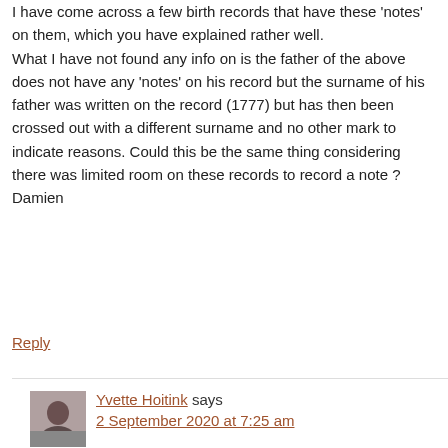I have come across a few birth records that have these 'notes' on them, which you have explained rather well. What I have not found any info on is the father of the above does not have any 'notes' on his record but the surname of his father was written on the record (1777) but has then been crossed out with a different surname and no other mark to indicate reasons. Could this be the same thing considering there was limited room on these records to record a note ? Damien
Reply
Yvette Hoitink says
2 September 2020 at 7:25 am